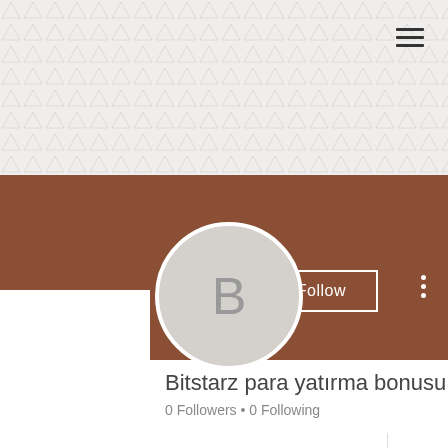[Figure (screenshot): Mobile app profile page with decorative triangle pattern background, brown banner header, circular avatar with letter B, Follow button, user name truncated as 'Bitstarz para yatırma bonusu y...', 0 Followers and 0 Following, and a Profile section showing Join date: May 16, 2022]
Bitstarz para yatırma bonusu y...
0 Followers • 0 Following
Profile
Join date: May 16, 2022